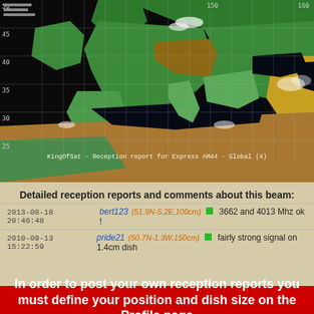[Figure (map): KingOfSat satellite reception coverage map for Express AM44 - Global (4), showing Europe and surrounding regions with terrain/elevation color coding and grid lines. Watermark text reads: KingOfSat - Reception report for Express AM44 - Global (4)]
Detailed reception reports and comments about this beam:
2013-08-18 20:46:48   bert123 (51.9N-5.2E,100cm) [green] 3662 and 4013 Mhz ok !
2010-09-13 15:22:59   pride21 (50.7N-1.3W,150cm) [green] fairly strong signal on 1.4cm dish
In order to post your own reception reports you must define your position and dish size on the Profile page